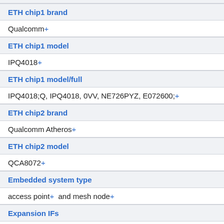ETH chip1 brand
Qualcomm+
ETH chip1 model
IPQ4018+
ETH chip1 model/full
IPQ4018;Q, IPQ4018, 0VV, NE726PYZ, E072600;+
ETH chip2 brand
Qualcomm Atheros+
ETH chip2 model
QCA8072+
Embedded system type
access point+  and mesh node+
Expansion IFs